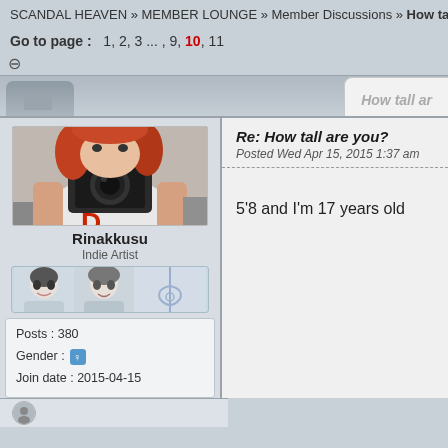SCANDAL HEAVEN » MEMBER LOUNGE » Member Discussions » How tall are y
Go to page : 1, 2, 3 ... , 9, 10, 11
[Figure (screenshot): Forum tab bar with inactive tab and active tab showing 'How tall ar']
[Figure (photo): Profile photo of user Rinakkusu holding a camera up to their face, with red/auburn hair]
Rinakkusu
Indie Artist
[Figure (illustration): User badge/rank images showing anime-style character icons]
Posts : 380
Gender : [female icon]
Join date : 2015-04-15
Re: How tall are you?
Posted Wed Apr 15, 2015 1:37 am
5'8 and I'm 17 years old